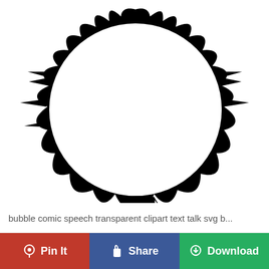[Figure (illustration): Black and white clipart of a comic speech bubble with jagged spiky edges, shown partially cropped. The bubble has an irregular jagged outline suggesting an angry or explosive speech bubble style, with sharp spike-like protrusions around its border.]
bubble comic speech transparent clipart text talk svg b...
Pin It
Share
Download